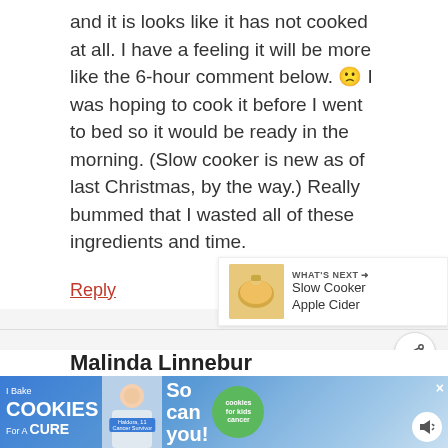and it is looks like it has not cooked at all. I have a feeling it will be more like the 6-hour comment below. 🙁 I was hoping to cook it before I went to bed so it would be ready in the morning. (Slow cooker is new as of last Christmas, by the way.) Really bummed that I wasted all of these ingredients and time.
Reply
[Figure (other): WHAT'S NEXT arrow label with Slow Cooker Apple Cider thumbnail image]
Malinda Linnebur
[Figure (other): Advertisement banner: I Bake COOKIES For A CURE with Haldora cancer survivor, So can you! cookies for kids cancer badge]